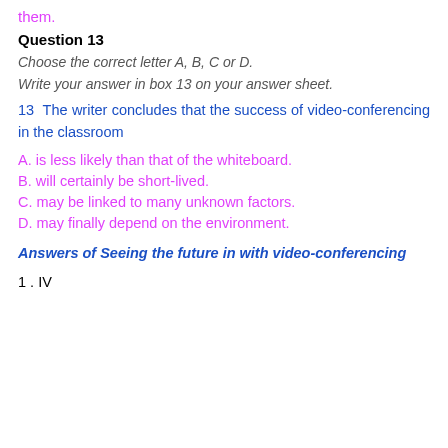them.
Question 13
Choose the correct letter A, B, C or D.
Write your answer in box 13 on your answer sheet.
13  The writer concludes that the success of video-conferencing in the classroom
A. is less likely than that of the whiteboard.
B. will certainly be short-lived.
C. may be linked to many unknown factors.
D. may finally depend on the environment.
Answers of Seeing the future in with video-conferencing
1 . IV